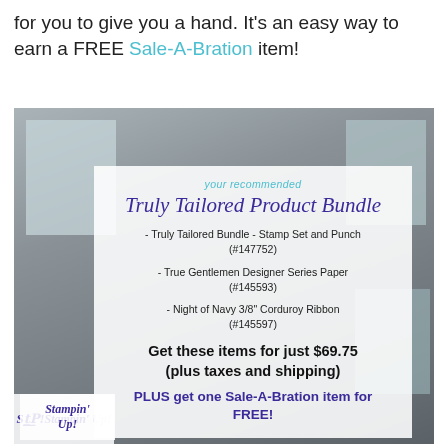for you to give you a hand. It's an easy way to earn a FREE Sale-A-Bration item!
[Figure (photo): Flat lay photo of crafting/stamping products on a grey concrete surface with cards and decorative items, overlaid with a semi-transparent white box containing product bundle information.]
your recommended
Truly Tailored Product Bundle
- Truly Tailored Bundle - Stamp Set and Punch (#147752)
- True Gentlemen Designer Series Paper (#145593)
- Night of Navy 3/8" Corduroy Ribbon (#145597)
Get these items for just $69.75 (plus taxes and shipping)
PLUS get one Sale-A-Bration item for FREE!